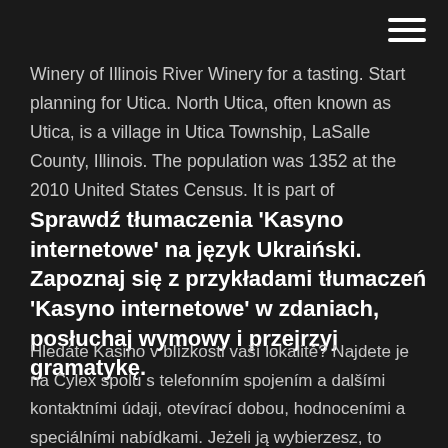Winery of Illinois River Winery for a tasting. Start planning for Utica. North Utica, often known as Utica, is a village in Utica Township, LaSalle County, Illinois. The population was 1352 at the 2010 United States Census. It is part of
Sprawdź tłumaczenia 'Kasyno internetowe' na język Ukraiński. Zapoznaj się z przykładami tłumaczeń 'Kasyno internetowe' w zdaniach, posłuchaj wymowy i przejrzyj gramatykę.
Hledáte Kasino v blízkosti vaší lokalitě? Najdete je na Cylex spolu s telefonním spojením a dalšími kontaktními údaji, otevírací dobou, hodnoceními a speciálními nabídkami. Jeżeli ją wybierzesz, to zanim pieniądze trafią do twojej kieszeni, musisz odwiedzić najbliższe kasyno i postawić